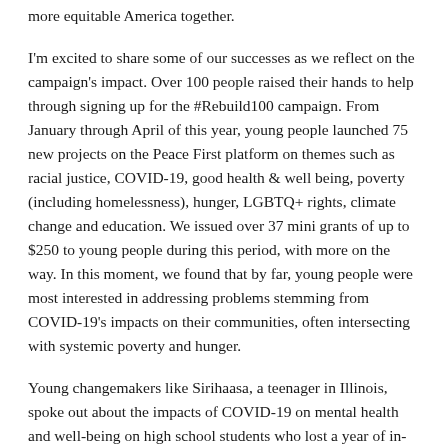more equitable America together.
I'm excited to share some of our successes as we reflect on the campaign's impact. Over 100 people raised their hands to help through signing up for the #Rebuild100 campaign. From January through April of this year, young people launched 75 new projects on the Peace First platform on themes such as racial justice, COVID-19, good health & well being, poverty (including homelessness), hunger, LGBTQ+ rights, climate change and education. We issued over 37 mini grants of up to $250 to young people during this period, with more on the way. In this moment, we found that by far, young people were most interested in addressing problems stemming from COVID-19's impacts on their communities, often intersecting with systemic poverty and hunger.
Young changemakers like Sirihaasa, a teenager in Illinois, spoke out about the impacts of COVID-19 on mental health and well-being on high school students who lost a year of in-person learning and connection, as well as missing out on key milestones such as graduation and prom. Like Ameena, a high school student in Utah, many